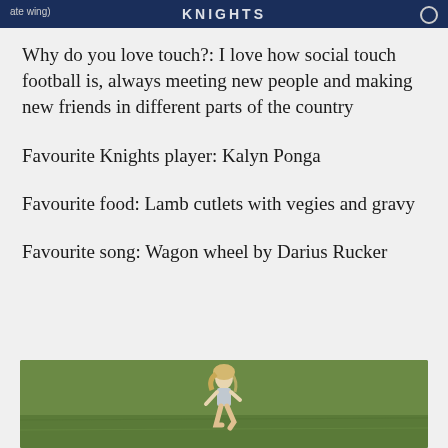KNIGHTS
Why do you love touch?: I love how social touch football is, always meeting new people and making new friends in different parts of the country
Favourite Knights player: Kalyn Ponga
Favourite food: Lamb cutlets with vegies and gravy
Favourite song: Wagon wheel by Darius Rucker
[Figure (photo): A person with blonde hair running on a green grass field, photographed from a distance]